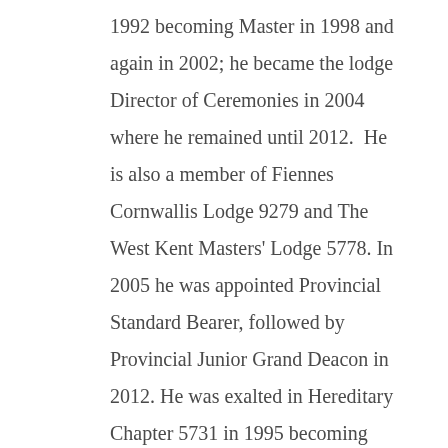1992 becoming Master in 1998 and again in 2002; he became the lodge Director of Ceremonies in 2004 where he remained until 2012.  He is also a member of Fiennes Cornwallis Lodge 9279 and The West Kent Masters' Lodge 5778. In 2005 he was appointed Provincial Standard Bearer, followed by Provincial Junior Grand Deacon in 2012. He was exalted in Hereditary Chapter 5731 in 1995 becoming MEZ in 2001 and served as the Director of Ceremonies for five years from 2008.  He is also a member of West Kent Stewards' Chapter 8565 and the West Kent